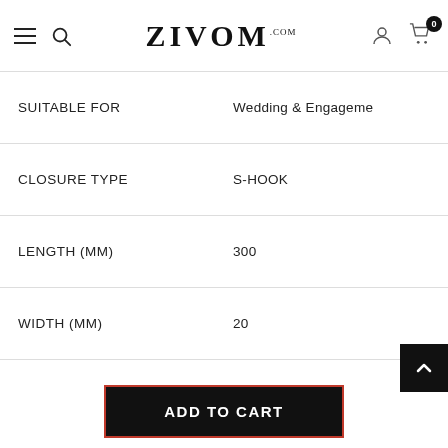ZIVOM — navigation bar with hamburger menu, search, logo, account and cart icons
| Attribute | Value |
| --- | --- |
| SUITABLE FOR | Wedding & Engagement |
| CLOSURE TYPE | S-HOOK |
| LENGTH (MM) | 300 |
| WIDTH (MM) | 20 |
ADD TO CART